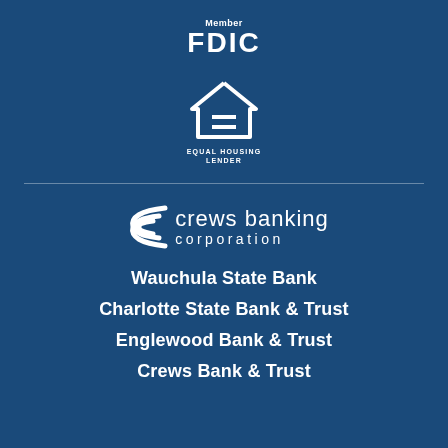[Figure (logo): Member FDIC logo with text 'Member' above bold 'FDIC']
[Figure (logo): Equal Housing Lender logo: house outline with equals sign inside, text 'EQUAL HOUSING LENDER' below]
[Figure (logo): Crews Banking Corporation logo with stylized arc/swoosh mark and text 'crews banking corporation']
Wauchula State Bank
Charlotte State Bank & Trust
Englewood Bank & Trust
Crews Bank & Trust